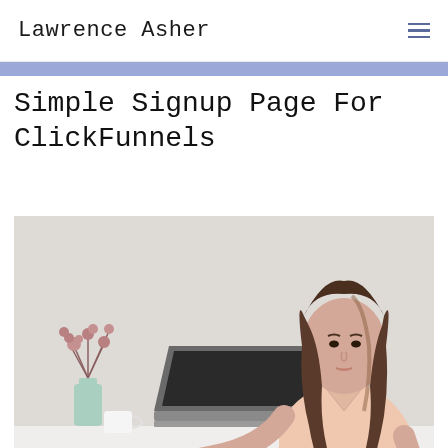Lawrence Asher
Simple Signup Page For ClickFunnels
[Figure (photo): Woman with long brown hair wearing a light pink top, sitting at a white desk working on a laptop. A mint green vase with dried pink flowers and a white mug are visible in the background. Light gray/white background.]